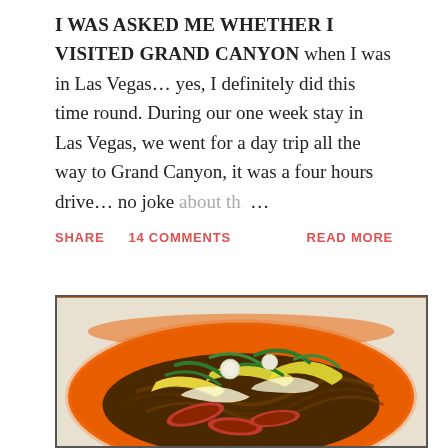I WAS ASKED ME WHETHER I VISITED GRAND CANYON when I was in Las Vegas… yes, I definitely did this time round. During our one week stay in Las Vegas, we went for a day trip all the way to Grand Canyon, it was a four hours drive… no joke about th…
SHARE   14 COMMENTS   READ MORE
[Figure (photo): A plate of Asian food (char kway teow or similar stir-fried noodle dish) on an orange plate, topped with scrambled egg strips, green onions/scallions, and char siu pork slices.]